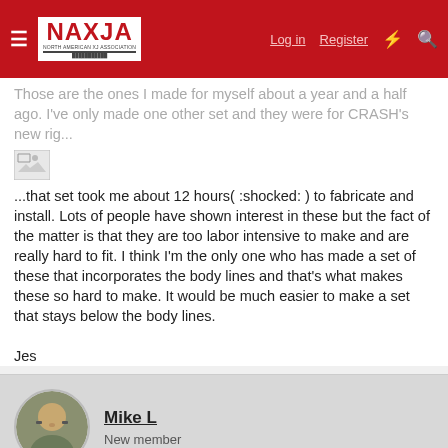NAXJA - North American XJ Association | Log in | Register
Those are the ones I made for myself about a year and a half ago. I've only made one other set and they were for CRASH's new rig...
[Figure (photo): Broken/missing image placeholder]
...that set took me about 12 hours( :shocked: ) to fabricate and install. Lots of people have shown interest in these but the fact of the matter is that they are too labor intensive to make and are really hard to fit. I think I'm the only one who has made a set of these that incorporates the body lines and that's what makes these so hard to make. It would be much easier to make a set that stays below the body lines.

Jes
Mike L
New member
Jul 28, 2004  #5